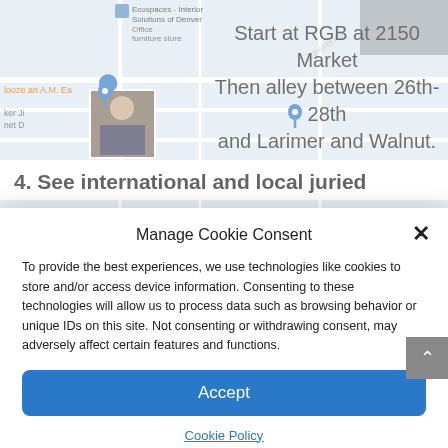[Figure (screenshot): Background map view showing Denver streets with location pins, store labels including Ecospaces Interior Solutions of Denver Office furniture store, and a photo thumbnail of a person. Text overlay reads: Start at RGB at 2150 Market Then alley between 26th-28th and Larimer and Walnut. Finish at 24th and Curtis]
Start at RGB at 2150 Market Then alley between 26th-28th and Larimer and Walnut. Finish at 24th and Curtis
4. See international and local juried
Manage Cookie Consent
To provide the best experiences, we use technologies like cookies to store and/or access device information. Consenting to these technologies will allow us to process data such as browsing behavior or unique IDs on this site. Not consenting or withdrawing consent, may adversely affect certain features and functions.
Accept
Cookie Policy